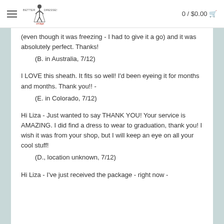Better Dresses Vintage — 0 / $0.00
(even though it was freezing - I had to give it a go) and it was absolutely perfect. Thanks!
    (B. in Australia, 7/12)
I LOVE this sheath. It fits so well! I'd been eyeing it for months and months. Thank you!! -
    (E. in Colorado, 7/12)
Hi Liza - Just wanted to say THANK YOU! Your service is AMAZING. I did find a dress to wear to graduation, thank you! I wish it was from your shop, but I will keep an eye on all your cool stuff!
    (D., location unknown, 7/12)
Hi Liza - I've just received the package - right now -